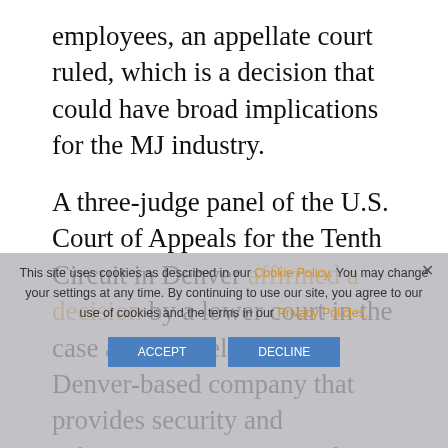employees, an appellate court ruled, which is a decision that could have broad implications for the MJ industry.

A three-judge panel of the U.S. Court of Appeals for the Tenth Circuit in Denver affirmed a decision by a lower court in the case against Helix TCS, a Denver-based company that provides security and infrastructure services to the marijuana industry.

Helix announced it disagreed with the ruling, and is exploring all of its options, including a possible appeal to the U.S. Supreme Court.
This site uses cookies as described in our Cookie Policy. You may change your settings at any time. By continuing to use our site, you agree to our use of cookies and the terms in our Privacy Policies.